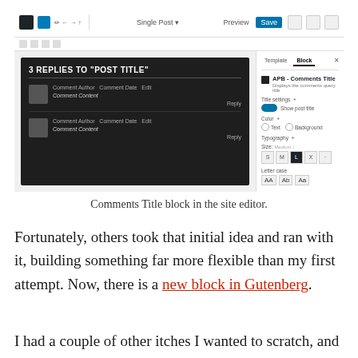[Figure (screenshot): WordPress site editor screenshot showing Comments Title block selected, with the block editor interface displaying '3 REPLIES TO "POST TITLE"' in a dark-themed canvas area, and the right sidebar showing block settings for Comments Title including title settings, color, typography, and letter case options.]
Comments Title block in the site editor.
Fortunately, others took that initial idea and ran with it, building something far more flexible than my first attempt. Now, there is a new block in Gutenberg.
I had a couple of other itches I wanted to scratch, and